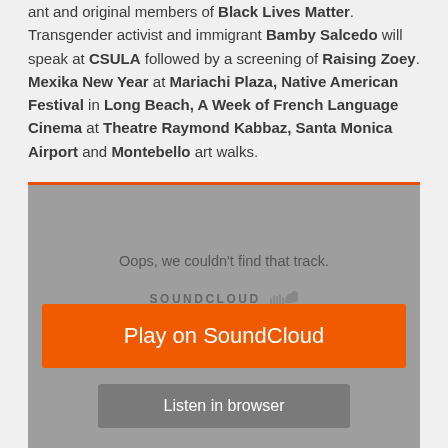ant and original members of Black Lives Matter. Transgender activist and immigrant Bamby Salcedo will speak at CSULA followed by a screening of Raising Zoey. Mexika New Year at Mariachi Plaza, Native American Festival in Long Beach, A Week of French Language Cinema at Theatre Raymond Kabbaz, Santa Monica Airport and Montebello art walks.
[Figure (screenshot): SoundCloud embedded player widget showing error message 'Oops, we couldn't find that track.' with SoundCloud logo, an orange 'Play on SoundCloud' button, and a grey 'Listen in browser' button.]